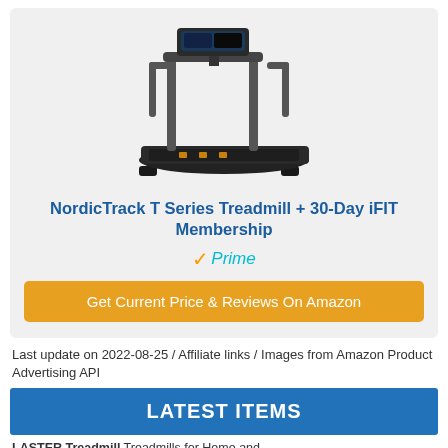[Figure (photo): Photo of a NordicTrack T Series Treadmill, a black treadmill with grey upright handles and a small display console at the top.]
NordicTrack T Series Treadmill + 30-Day iFIT Membership
✓Prime
Get Current Price & Reviews On Amazon
Last update on 2022-08-25 / Affiliate links / Images from Amazon Product Advertising API
LATEST ITEMS
LASTER Treadmill Treadmills for Home and...